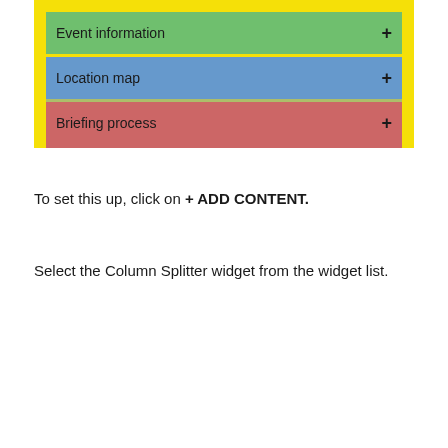[Figure (screenshot): UI screenshot showing a yellow-bordered panel with three accordion/collapsible rows: 'Event information' (green), 'Location map' (blue), and 'Briefing process' (red/pink), each with a '+' button on the right.]
To set this up, click on + ADD CONTENT.
Select the Column Splitter widget from the widget list.